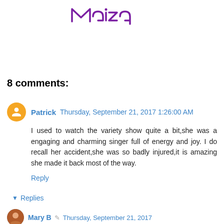[Figure (illustration): Handwritten purple signature/logo text reading 'Maiza' in cursive style]
8 comments:
Patrick  Thursday, September 21, 2017 1:26:00 AM
I used to watch the variety show quite a bit,she was a engaging and charming singer full of energy and joy. I do recall her accident,she was so badly injured,it is amazing she made it back most of the way.
Reply
▾ Replies
Mary B  Thursday, September 21, 2017